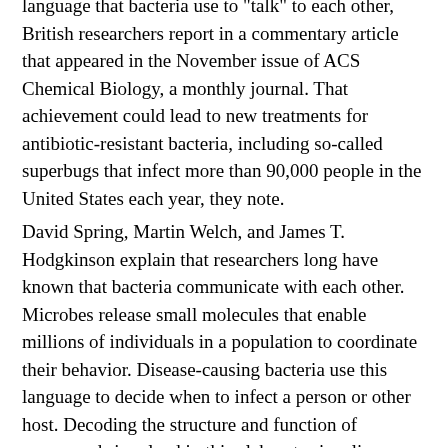language that bacteria use to "talk" to each other, British researchers report in a commentary article that appeared in the November issue of ACS Chemical Biology, a monthly journal. That achievement could lead to new treatments for antibiotic-resistant bacteria, including so-called superbugs that infect more than 90,000 people in the United States each year, they note.
David Spring, Martin Welch, and James T. Hodgkinson explain that researchers long have known that bacteria communicate with each other. Microbes release small molecules that enable millions of individuals in a population to coordinate their behavior. Disease-causing bacteria use this language to decide when to infect a person or other host. Decoding the structure and function of compounds involved in this elaborate signaling process, known as "quorum sensing," could lead to new medicines to block the signals and prevent infections.